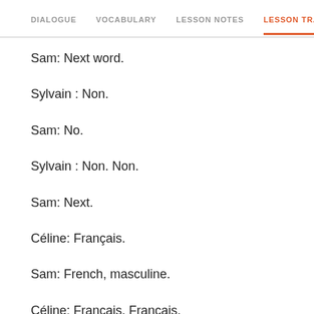DIALOGUE  VOCABULARY  LESSON NOTES  LESSON TRANSCRIPT  C
Sam: Next word.
Sylvain : Non.
Sam: No.
Sylvain : Non. Non.
Sam: Next.
Céline: Français.
Sam: French, masculine.
Céline: Français. Français.